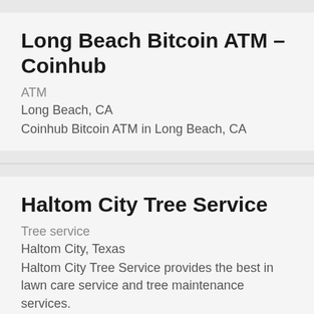Long Beach Bitcoin ATM – Coinhub
ATM
Long Beach, CA
Coinhub Bitcoin ATM in Long Beach, CA
Haltom City Tree Service
Tree service
Haltom City, Texas
Haltom City Tree Service provides the best in lawn care service and tree maintenance services.